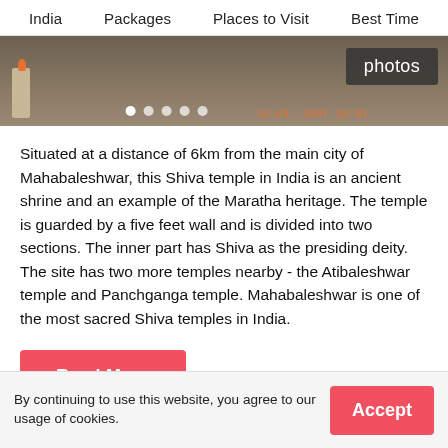India   Packages   Places to Visit   Best Time
[Figure (photo): Photo of Mahabaleshwar temple/shrine area with stone walls, a candle visible on the left, navigation dots at the bottom, and a 'photos' button overlay on the top right. Timestamp visible in orange.]
Situated at a distance of 6km from the main city of Mahabaleshwar, this Shiva temple in India is an ancient shrine and an example of the Maratha heritage. The temple is guarded by a five feet wall and is divided into two sections. The inner part has Shiva as the presiding deity. The site has two more temples nearby - the Atibaleshwar temple and Panchganga temple. Mahabaleshwar is one of the most sacred Shiva temples in India.
Read More
By continuing to use this website, you agree to our usage of cookies.